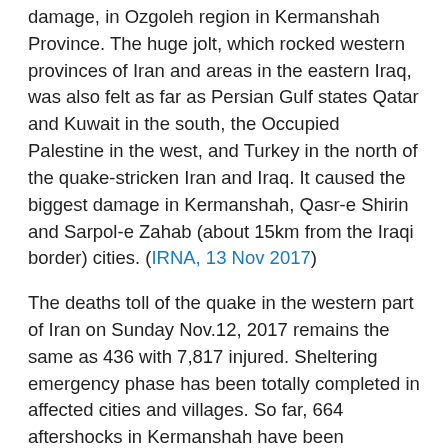damage, in Ozgoleh region in Kermanshah Province. The huge jolt, which rocked western provinces of Iran and areas in the eastern Iraq, was also felt as far as Persian Gulf states Qatar and Kuwait in the south, the Occupied Palestine in the west, and Turkey in the north of the quake-stricken Iran and Iraq. It caused the biggest damage in Kermanshah, Qasr-e Shirin and Sarpol-e Zahab (about 15km from the Iraqi border) cities. (IRNA, 13 Nov 2017)
The deaths toll of the quake in the western part of Iran on Sunday Nov.12, 2017 remains the same as 436 with 7,817 injured. Sheltering emergency phase has been totally completed in affected cities and villages. So far, 664 aftershocks in Kermanshah have been registered, the biggest of which is 4.7 on the Richter scale. (Iranian Red Crescent, 19 Nov 2017)
As of 10 Dec, the Iranian Red Crescent Society has provided nearly 21,000 health, medical and rehabilitation